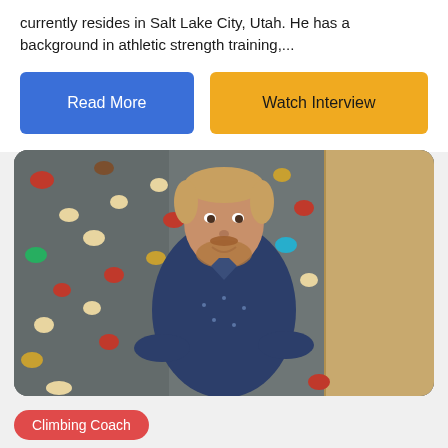currently resides in Salt Lake City, Utah. He has a background in athletic strength training,...
Read More
Watch Interview
[Figure (photo): Man with beard and reddish hair standing in front of a bouldering/climbing wall with colorful holds, wearing a navy blue patterned shirt with arms crossed, smiling at the camera.]
Climbing Coach